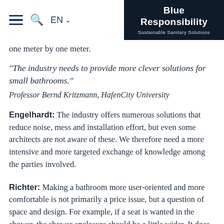Blue Responsibility | Sustainable Sanitary Solutions
one meter by one meter.
“The industry needs to provide more clever solutions for small bathrooms.” Professor Bernd Kritzmann, HafenCity University
Engelhardt: The industry offers numerous solutions that reduce noise, mess and installation effort, but even some architects are not aware of these. We therefore need a more intensive and more targeted exchange of knowledge among the parties involved.
Richter: Making a bathroom more user-oriented and more comfortable is not primarily a price issue, but a question of space and design. For example, if a seat is wanted in the shower, the shower enclosure should be a little wider. It does not necessarily have to be a folding seat – a low tiled